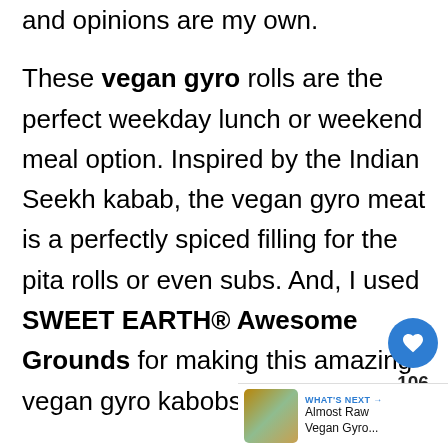and opinions are my own.
These vegan gyro rolls are the perfect weekday lunch or weekend meal option. Inspired by the Indian Seekh kabab, the vegan gyro meat is a perfectly spiced filling for the pita rolls or even subs. And, I used SWEET EARTH® Awesome Grounds for making this amazing vegan gyro kabobs.
[Figure (infographic): Heart/like button widget showing 106 likes, and a share button icon on the right side of the page]
[Figure (infographic): What's Next panel showing thumbnail image and text 'Almost Raw Vegan Gyro...']